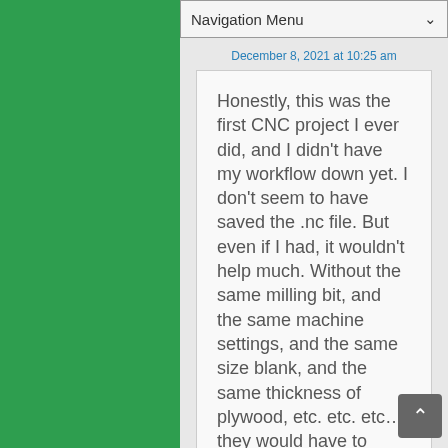Navigation Menu
December 8, 2021 at 10:25 am
Honestly, this was the first CNC project I ever did, and I didn't have my workflow down yet. I don't seem to have saved the .nc file. But even if I had, it wouldn't help much. Without the same milling bit, and the same machine settings, and the same size blank, and the same thickness of plywood, etc. etc. etc… they would have to recreate it anyway. And since the tolerances are pretty tight, if your EKKO was built slightly different from…